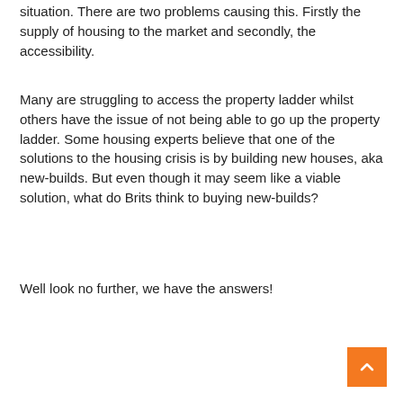situation. There are two problems causing this. Firstly the supply of housing to the market and secondly, the accessibility.
Many are struggling to access the property ladder whilst others have the issue of not being able to go up the property ladder. Some housing experts believe that one of the solutions to the housing crisis is by building new houses, aka new-builds. But even though it may seem like a viable solution, what do Brits think to buying new-builds?
Well look no further, we have the answers!